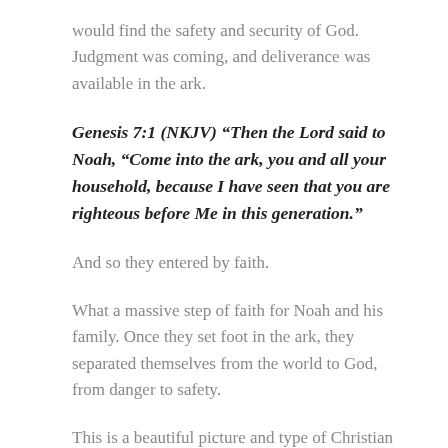would find the safety and security of God. Judgment was coming, and deliverance was available in the ark.
Genesis 7:1 (NKJV) “Then the Lord said to Noah, “Come into the ark, you and all your household, because I have seen that you are righteous before Me in this generation.”
And so they entered by faith.
What a massive step of faith for Noah and his family. Once they set foot in the ark, they separated themselves from the world to God, from danger to safety.
This is a beautiful picture and type of Christian life. The ark represents Jesus. When people place